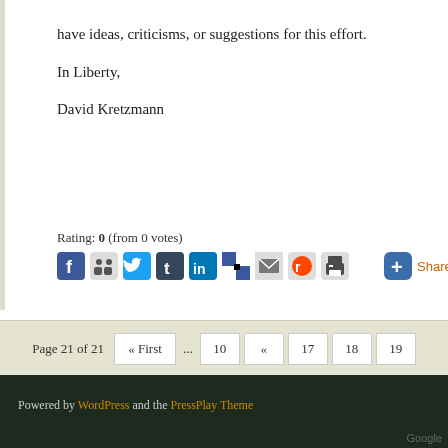have ideas, criticisms, or suggestions for this effort.
In Liberty,
David Kretzmann
Rating: 0 (from 0 votes)
Page 21 of 21  « First  ...  10  «  17  18  19
Powered by WordPress and the PressPlay Theme